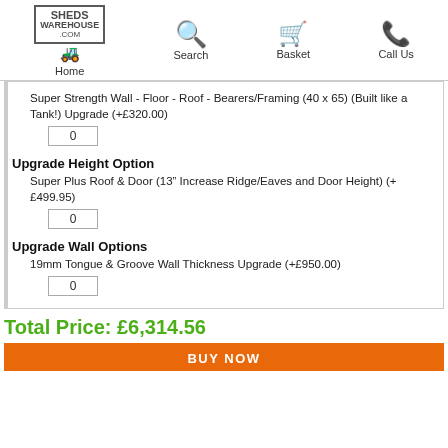Home | Search | Basket | Call Us
Super Strength Wall - Floor - Roof - Bearers/Framing (40 x 65) (Built like a Tank!) Upgrade (+£320.00)
0
Upgrade Height Option
Super Plus Roof & Door (13" Increase Ridge/Eaves and Door Height) (+£499.95)
0
Upgrade Wall Options
19mm Tongue & Groove Wall Thickness Upgrade (+£950.00)
0
Total Price: £6,314.56
BUY NOW